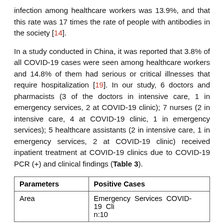infection among healthcare workers was 13.9%, and that this rate was 17 times the rate of people with antibodies in the society [14].
In a study conducted in China, it was reported that 3.8% of all COVID-19 cases were seen among healthcare workers and 14.8% of them had serious or critical illnesses that require hospitalization [19]. In our study, 6 doctors and pharmacists (3 of the doctors in intensive care, 1 in emergency services, 2 at COVID-19 clinic); 7 nurses (2 in intensive care, 4 at COVID-19 clinic, 1 in emergency services); 5 healthcare assistants (2 in intensive care, 1 in emergency services, 2 at COVID-19 clinic) received inpatient treatment at COVID-19 clinics due to COVID-19 PCR (+) and clinical findings (Table 3).
| Parameters | Positive Cases |
| --- | --- |
| Area | Emergency Services COVID-19 Cli
n:10 |